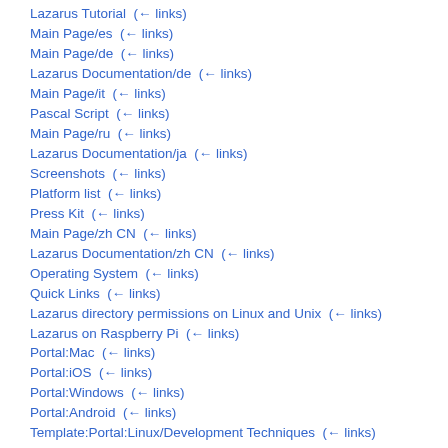Lazarus Tutorial  (← links)
Main Page/es  (← links)
Main Page/de  (← links)
Lazarus Documentation/de  (← links)
Main Page/it  (← links)
Pascal Script  (← links)
Main Page/ru  (← links)
Lazarus Documentation/ja  (← links)
Screenshots  (← links)
Platform list  (← links)
Press Kit  (← links)
Main Page/zh CN  (← links)
Lazarus Documentation/zh CN  (← links)
Operating System  (← links)
Quick Links  (← links)
Lazarus directory permissions on Linux and Unix  (← links)
Lazarus on Raspberry Pi  (← links)
Portal:Mac  (← links)
Portal:iOS  (← links)
Portal:Windows  (← links)
Portal:Android  (← links)
Template:Portal:Linux/Development Techniques  (← links)